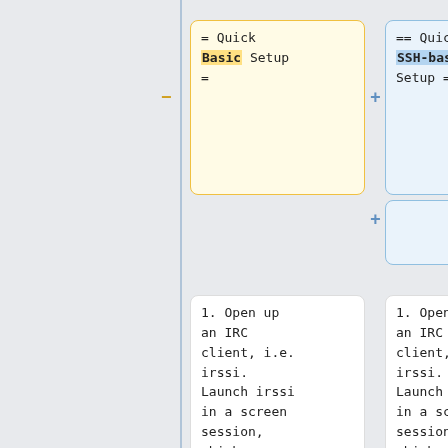[Figure (screenshot): Diff view screenshot showing two columns of text cards comparing 'Quick Basic Setup' vs 'Quick SSH-based Setup' with code and instructions about IRC client irssi and SSH commands. Left column highlighted yellow (removed), right column highlighted blue (added).]